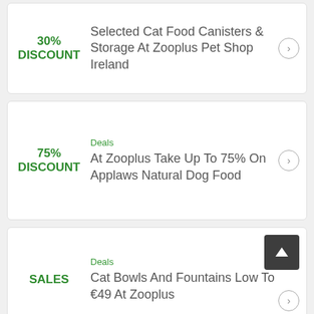30% DISCOUNT — Selected Cat Food Canisters & Storage At Zooplus Pet Shop Ireland
Deals — 75% DISCOUNT — At Zooplus Take Up To 75% On Applaws Natural Dog Food
Deals — SALES — Cat Bowls And Fountains Low To €49 At Zooplus